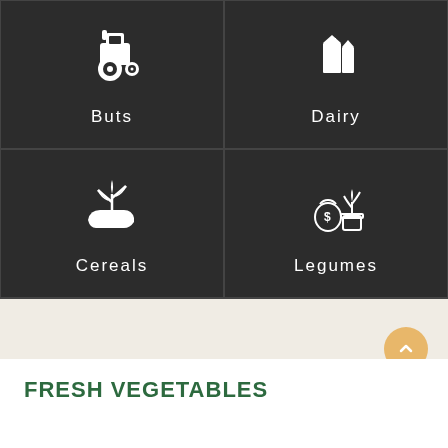[Figure (infographic): 2x2 grid of category icons on dark background. Top-left: tractor icon labeled 'Buts'. Top-right: dairy/milk carton icon labeled 'Dairy'. Bottom-left: seedling/hand icon labeled 'Cereals'. Bottom-right: money bag and plant icon labeled 'Legumes'.]
FRESH VEGETABLES